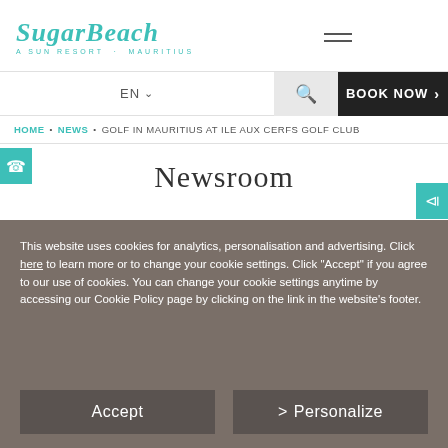SugarBeach A SUN RESORT · MAURITIUS
EN ∨   🔍   BOOK NOW >
HOME • NEWS • GOLF IN MAURITIUS AT ILE AUX CERFS GOLF CLUB
Newsroom
This website uses cookies for analytics, personalisation and advertising. Click here to learn more or to change your cookie settings. Click "Accept" if you agree to our use of cookies. You can change your cookie settings anytime by accessing our Cookie Policy page by clicking on the link in the website's footer.
Accept   >  Personalize